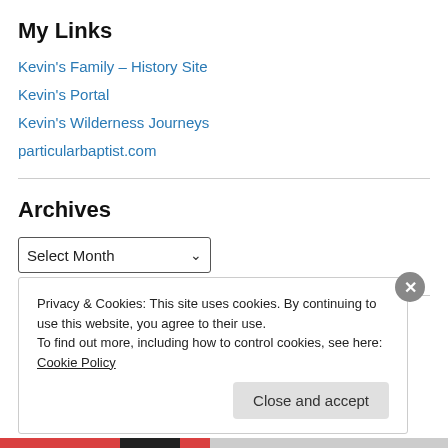My Links
Kevin's Family – History Site
Kevin's Portal
Kevin's Wilderness Journeys
particularbaptist.com
Archives
Select Month
Privacy & Cookies: This site uses cookies. By continuing to use this website, you agree to their use.
To find out more, including how to control cookies, see here: Cookie Policy
Close and accept